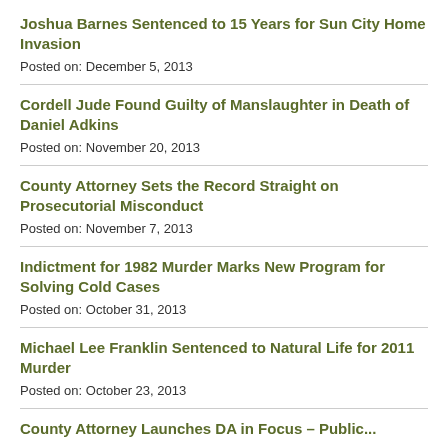Joshua Barnes Sentenced to 15 Years for Sun City Home Invasion
Posted on: December 5, 2013
Cordell Jude Found Guilty of Manslaughter in Death of Daniel Adkins
Posted on: November 20, 2013
County Attorney Sets the Record Straight on Prosecutorial Misconduct
Posted on: November 7, 2013
Indictment for 1982 Murder Marks New Program for Solving Cold Cases
Posted on: October 31, 2013
Michael Lee Franklin Sentenced to Natural Life for 2011 Murder
Posted on: October 23, 2013
County Attorney Launches DA in Focus – Public...